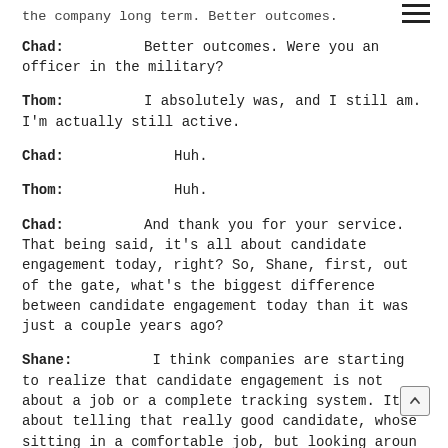...the company long-term. Better outcomes.
Chad: Better outcomes. Were you an officer in the military?
Thom: I absolutely was, and I still am. I'm actually still active.
Chad: Huh.
Thom: Huh.
Chad: And thank you for your service. That being said, it's all about candidate engagement today, right? So, Shane, first, out of the gate, what's the biggest difference between candidate engagement today than it was just a couple years ago?
Shane: I think companies are starting to realize that candidate engagement is not about a job or a complete tracking system. It's about telling that really good candidate, whose sitting in a comfortable job, but looking around for new opportunity, what's going to be an